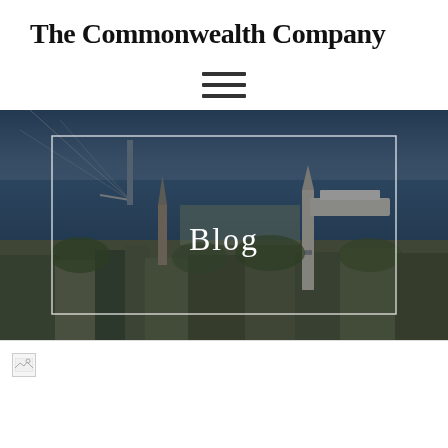The Commonwealth Company
[Figure (other): Hamburger menu icon with three horizontal bars]
[Figure (photo): Aerial photograph of Charleston, SC waterfront and historic downtown with church steeples and harbor. Overlaid with a white rectangular border and centered text reading 'Blog']
[Figure (other): Broken image placeholder icon at bottom left]